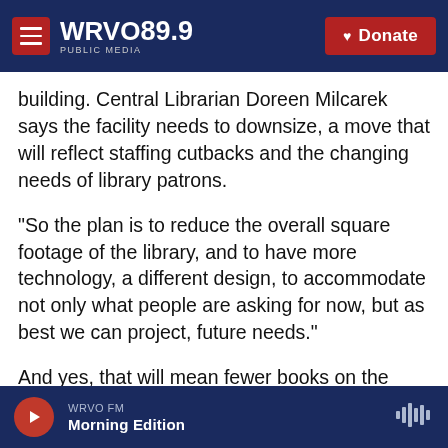WRVO PUBLIC MEDIA 89.9 | Donate
building. Central Librarian Doreen Milcarek says the facility needs to downsize, a move that will reflect staffing cutbacks and the changing needs of library patrons.
"So the plan is to reduce the overall square footage of the library, and to have more technology, a different design, to accommodate not only what people are asking for now, but as best we can project, future needs."
And yes, that will mean fewer books on the shelves.
WRVO FM | Morning Edition